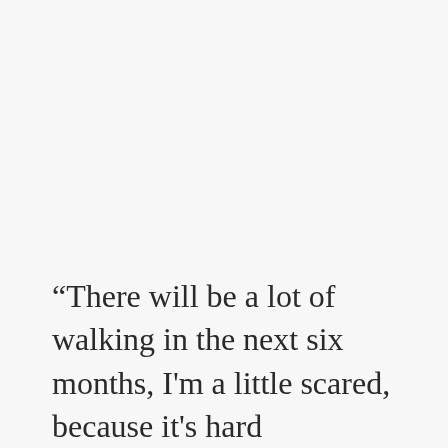“There will be a lot of walking in the next six months, I’m a little scared, because it’s hard